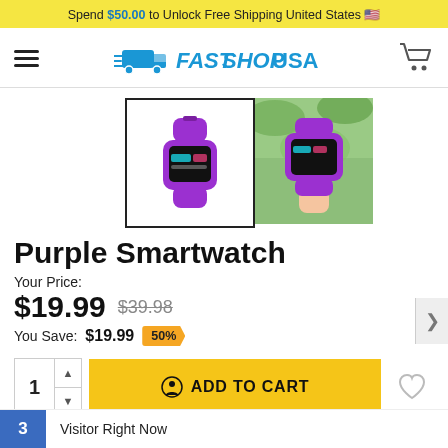Spend $50.00 to Unlock Free Shipping United States 🇺🇸
[Figure (logo): FastShopUSA logo with delivery truck icon in blue]
[Figure (photo): Two product photos: purple smartwatch on white background (selected, with black border), and a hand holding the same purple smartwatch outdoors]
Purple Smartwatch
Your Price:
$19.99  $39.98
You Save: $19.99  50%
1  ADD TO CART
3  Visitor Right Now